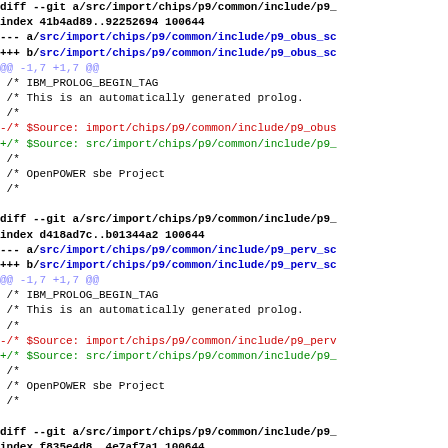[Figure (screenshot): Git diff output showing changes to p9_obus and p9_perv header files, with red lines for removed content and green for added content, blue for file paths.]
diff --git a/src/import/chips/p9/common/include/p9_obus_sc...
index 41b4ad89..92252694 100644
--- a/src/import/chips/p9/common/include/p9_obus_sc
+++ b/src/import/chips/p9/common/include/p9_obus_sc
@@ -1,7 +1,7 @@
 /* IBM_PROLOG_BEGIN_TAG
 /* This is an automatically generated prolog.
 /*
-/* $Source: import/chips/p9/common/include/p9_obus
+/* $Source: src/import/chips/p9/common/include/p9_
 /*
 /* OpenPOWER sbe Project
 /*
diff --git a/src/import/chips/p9/common/include/p9_
index d418ad7c..b01344a2 100644
--- a/src/import/chips/p9/common/include/p9_perv_sc
+++ b/src/import/chips/p9/common/include/p9_perv_sc
@@ -1,7 +1,7 @@
 /* IBM_PROLOG_BEGIN_TAG
 /* This is an automatically generated prolog.
 /*
-/* $Source: import/chips/p9/common/include/p9_perv
+/* $Source: src/import/chips/p9/common/include/p9_
 /*
 /* OpenPOWER sbe Project
 /*
diff --git a/src/import/chips/p9/common/include/p9_
index f835e4d8..4e7af7a1 100644
--- a/src/import/chips/p9/common/include/p9_perv_sc